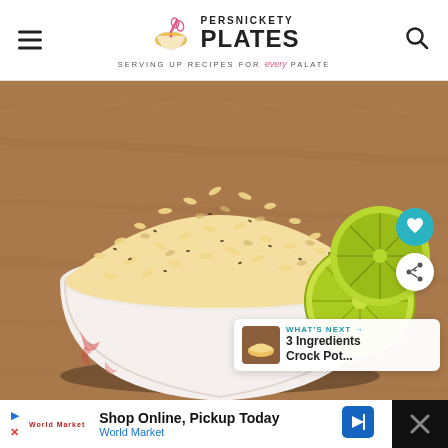Persnickety Plates — Serving Up Recipes For Every Palate
[Figure (photo): A white ceramic bowl filled with seasoned rice with herbs, placed on a wooden cutting board next to sliced lime halves. Social share and heart buttons visible. 'What's Next' overlay showing '3 Ingredients Crock Pot...' recipe thumbnail.]
WHAT'S NEXT → 3 Ingredients Crock Pot...
Shop Online, Pickup Today World Market